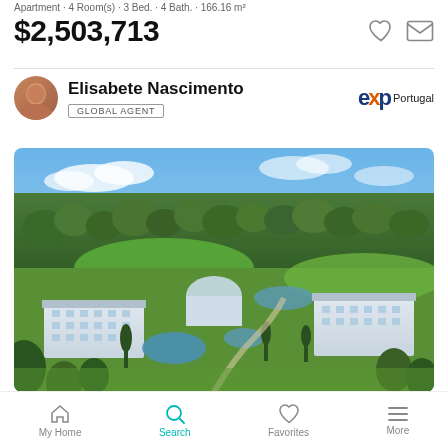Apartment · 4 Room(s) · 3 Bed. · 4 Bath. · 166.16 m²
$2,503,713
Elisabete Nascimento
GLOBAL AGENT
[Figure (photo): Aerial view of a luxury resort complex with white buildings, pools, and landscaped gardens surrounded by greenery and a golf course in Portugal]
My Home   Search   Favorites   More